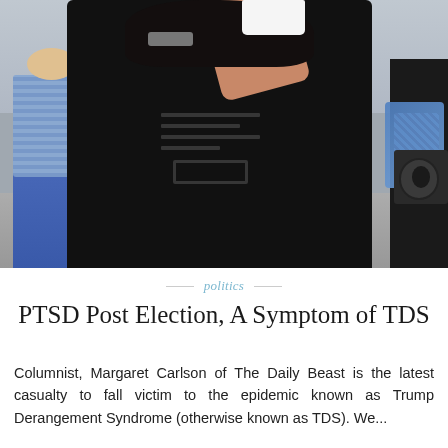[Figure (photo): Outdoor photo of a woman in a black top/jacket drinking from a white cup, arms raised, surrounded by people at what appears to be a public gathering or protest. A person in a blue plaid shirt is visible on the left, and someone with a camera bag is on the right.]
— politics —
PTSD Post Election, A Symptom of TDS
Columnist, Margaret Carlson of The Daily Beast is the latest casualty to fall victim to the epidemic known as Trump Derangement Syndrome (otherwise known as TDS). We...